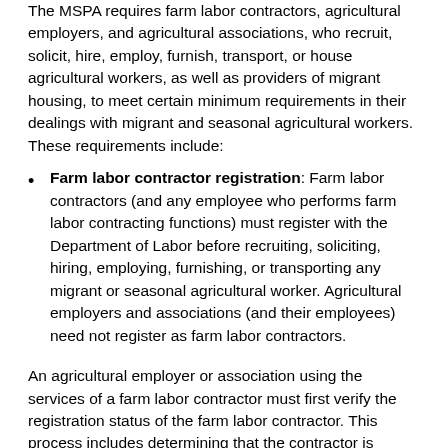The MSPA requires farm labor contractors, agricultural employers, and agricultural associations, who recruit, solicit, hire, employ, furnish, transport, or house agricultural workers, as well as providers of migrant housing, to meet certain minimum requirements in their dealings with migrant and seasonal agricultural workers. These requirements include:
Farm labor contractor registration: Farm labor contractors (and any employee who performs farm labor contracting functions) must register with the Department of Labor before recruiting, soliciting, hiring, employing, furnishing, or transporting any migrant or seasonal agricultural worker. Agricultural employers and associations (and their employees) need not register as farm labor contractors.
An agricultural employer or association using the services of a farm labor contractor must first verify the registration status of the farm labor contractor. This process includes determining that the contractor is properly authorized for all activities the contractor will undertake if authorized.